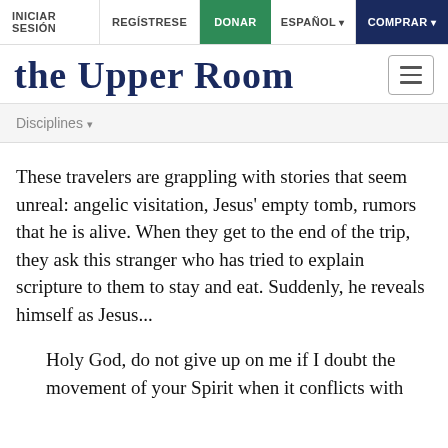INICIAR SESIÓN   REGÍSTRESE   DONAR   ESPAÑOL   COMPRAR
THE UPPER ROOM
Disciplines
These travelers are grappling with stories that seem unreal: angelic visitation, Jesus' empty tomb, rumors that he is alive. When they get to the end of the trip, they ask this stranger who has tried to explain scripture to them to stay and eat. Suddenly, he reveals himself as Jesus...
Holy God, do not give up on me if I doubt the movement of your Spirit when it conflicts with